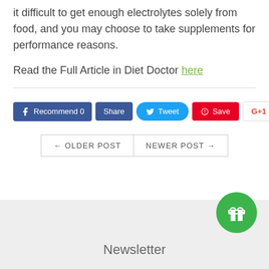it difficult to get enough electrolytes solely from food, and you may choose to take supplements for performance reasons.
Read the Full Article in Diet Doctor here
[Figure (infographic): Social sharing buttons: Facebook Recommend 0, Share, Tweet, Pinterest Save, Google+1]
[Figure (infographic): Navigation buttons: OLDER POST and NEWER POST]
Newsletter
[Figure (illustration): Green circle with gift/present icon]